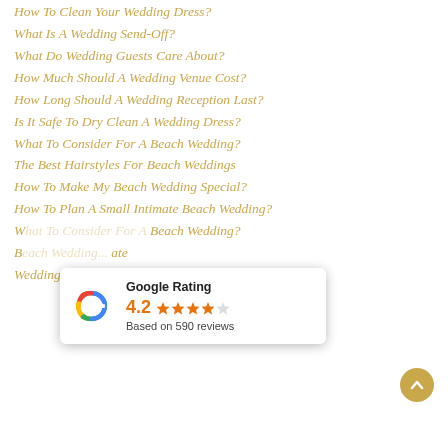How To Clean Your Wedding Dress?
What Is A Wedding Send-Off?
What Do Wedding Guests Care About?
How Much Should A Wedding Venue Cost?
How Long Should A Wedding Reception Last?
Is It Safe To Dry Clean A Wedding Dress?
What To Consider For A Beach Wedding?
The Best Hairstyles For Beach Weddings
How To Make My Beach Wedding Special?
How To Plan A Small Intimate Beach Wedding?
W... Beach Wedding?
B... ate
[Figure (infographic): Google Rating popup showing 4.2 stars based on 590 reviews, with Google logo]
Wedding Industries concerns raised in Victorian